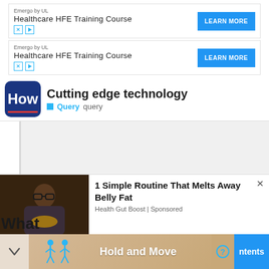[Figure (screenshot): Advertisement banner: Emergo by UL Healthcare HFE Training Course with LEARN MORE button (first instance)]
[Figure (screenshot): Advertisement banner: Emergo by UL Healthcare HFE Training Course with LEARN MORE button (second instance)]
Cutting edge technology
Query  query
[Figure (screenshot): Bottom advertisement: 1 Simple Routine That Melts Away Belly Fat - Health Gut Boost | Sponsored, with photo of man cooking]
[Figure (screenshot): Bottom bar with Hold and Move text, human figures icons, question mark circle, chevron, and ntents button on blue background]